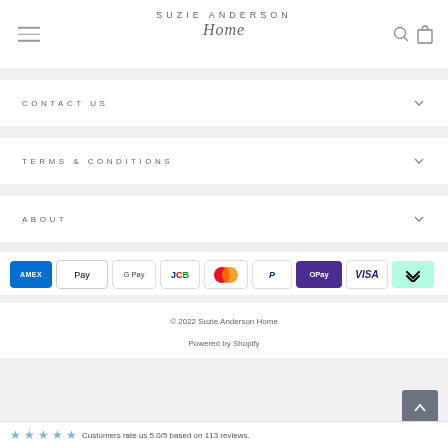SUZIE ANDERSON Home
CONTACT US
TERMS & CONDITIONS
ABOUT
[Figure (infographic): Payment method icons: Amex, Apple Pay, Google Pay, JCB, Mastercard, PayPal, OPay, Visa, Afterpay]
© 2022 Suzie Anderson Home
Powered by Shopify
Customers rate us 5.0/5 based on 113 reviews.